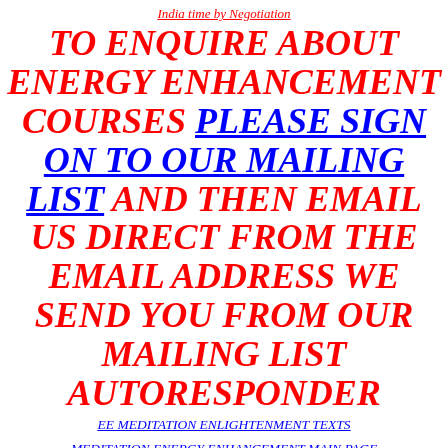India time by Negotiation
TO ENQUIRE ABOUT ENERGY ENHANCEMENT COURSES PLEASE SIGN ON TO OUR MAILING LIST AND THEN EMAIL US DIRECT FROM THE EMAIL ADDRESS WE SEND YOU FROM OUR MAILING LIST AUTORESPONDER
EE MEDITATION ENLIGHTENMENT TEXTS
MEDITATION ENERGY ENHANCEMENT MAIN PAGE